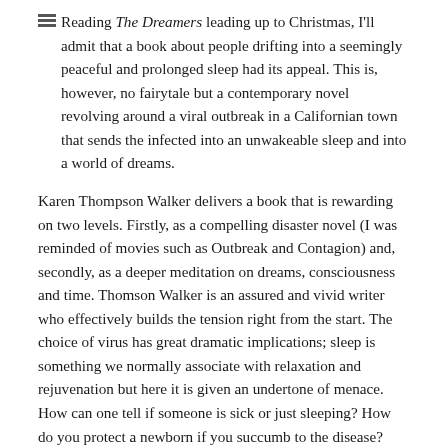Reading The Dreamers leading up to Christmas, I'll admit that a book about people drifting into a seemingly peaceful and prolonged sleep had its appeal. This is, however, no fairytale but a contemporary novel revolving around a viral outbreak in a Californian town that sends the infected into an unwakeable sleep and into a world of dreams.
Karen Thompson Walker delivers a book that is rewarding on two levels. Firstly, as a compelling disaster novel (I was reminded of movies such as Outbreak and Contagion) and, secondly, as a deeper meditation on dreams, consciousness and time. Thomson Walker is an assured and vivid writer who effectively builds the tension right from the start. The choice of virus has great dramatic implications; sleep is something we normally associate with relaxation and rejuvenation but here it is given an undertone of menace. How can one tell if someone is sick or just sleeping? How do you protect a newborn if you succumb to the disease? How are thousands of sleeping people kept alive when they are outnumbering their carers? The author also deftly examines the complications and logistics of a medical disaster: the need for quarantine, the strain on resources, the inevitable hysteria and the unrelenting presence of the media. Most effective is the parallel of these extraordinary events with the everyday lives of characters trying to navigate relationships, desires and personal loss alongside this extreme situation.
As satisfying as the novel's plot is, it is the thematic closing chapters...